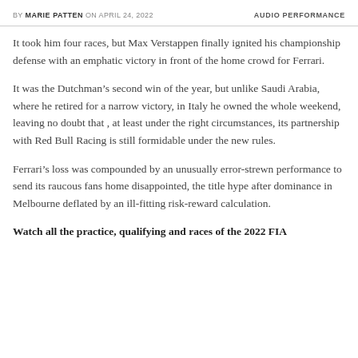BY MARIE PATTEN ON APRIL 24, 2022    AUDIO PERFORMANCE
It took him four races, but Max Verstappen finally ignited his championship defense with an emphatic victory in front of the home crowd for Ferrari.
It was the Dutchman’s second win of the year, but unlike Saudi Arabia, where he retired for a narrow victory, in Italy he owned the whole weekend, leaving no doubt that , at least under the right circumstances, its partnership with Red Bull Racing is still formidable under the new rules.
Ferrari’s loss was compounded by an unusually error-strewn performance to send its raucous fans home disappointed, the title hype after dominance in Melbourne deflated by an ill-fitting risk-reward calculation.
Watch all the practice, qualifying and races of the 2022 FIA